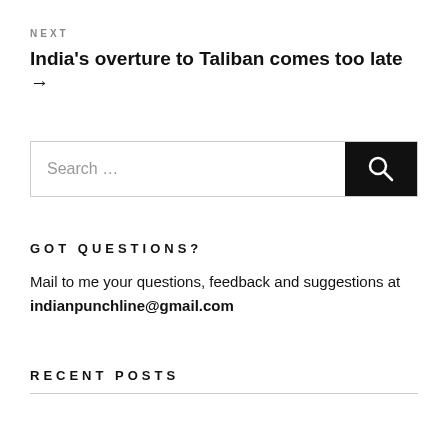NEXT
India's overture to Taliban comes too late →
Search …
GOT QUESTIONS?
Mail to me your questions, feedback and suggestions at indianpunchline@gmail.com
RECENT POSTS